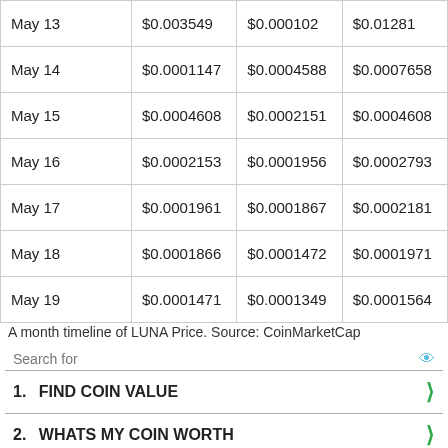| May 13 | $0.003549 | $0.000102 | $0.01281 |
| May 14 | $0.0001147 | $0.0004588 | $0.0007658 |
| May 15 | $0.0004608 | $0.0002151 | $0.0004608 |
| May 16 | $0.0002153 | $0.0001956 | $0.0002793 |
| May 17 | $0.0001961 | $0.0001867 | $0.0002181 |
| May 18 | $0.0001866 | $0.0001472 | $0.0001971 |
| May 19 | $0.0001471 | $0.0001349 | $0.0001564 |
A month timeline of LUNA Price. Source: CoinMarketCap
Search for
1.  FIND COIN VALUE
2.  WHATS MY COIN WORTH